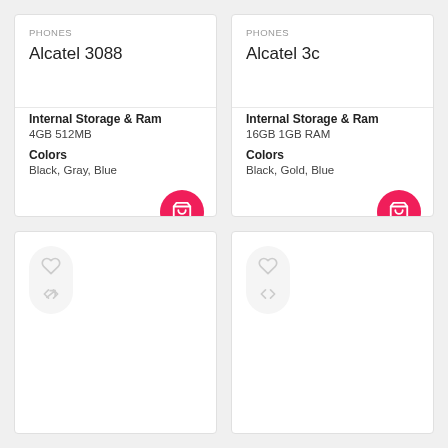PHONES
Alcatel 3088
Internal Storage & Ram
4GB 512MB
Colors
Black, Gray, Blue
PHONES
Alcatel 3c
Internal Storage & Ram
16GB 1GB RAM
Colors
Black, Gold, Blue
[Figure (screenshot): Bottom left product card with heart and compare icons]
[Figure (screenshot): Bottom right product card with heart and compare icons]